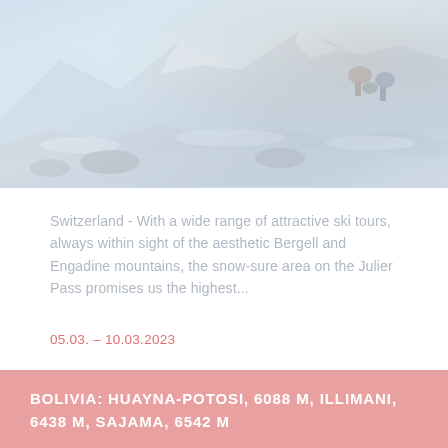[Figure (photo): Snowy mountain landscape with hikers/skiers resting on rocks, alpine winter scene with snow-covered terrain. Bergell and Engadine mountains setting.]
Switzerland - With a wide range of attractive ski tours, always within sight of the aesthetic Bergell and Engadine mountains, the snow-sure area on the Julier Pass promises us the highest...
05.03. – 10.03.2023
BOLIVIA: HUAYNA-POTOSI, 6088 M, ILLIMANI, 6438 M, SAJAMA, 6542 M